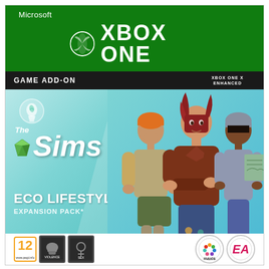[Figure (illustration): Xbox One game case cover for The Sims 4 Eco Lifestyle Expansion Pack. Green Xbox header with Microsoft branding and Xbox One logo. Black bar with GAME ADD-ON text. Teal/cyan background with three Sim characters. The Sims 4 logo with diamond icon. ECO LIFESTYLE EXPANSION PACK text. PEGI 12 rating, violence and sex content icons, Maxis and EA logos at bottom.]